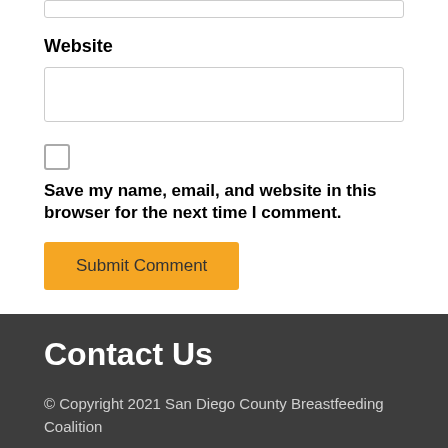(input box top - partial)
Website
Save my name, email, and website in this browser for the next time I comment.
Submit Comment
Contact Us
© Copyright 2021 San Diego County Breastfeeding Coalition
2907 Shelter Island Dr., Ste. 105-476 San Diego, CA 92106